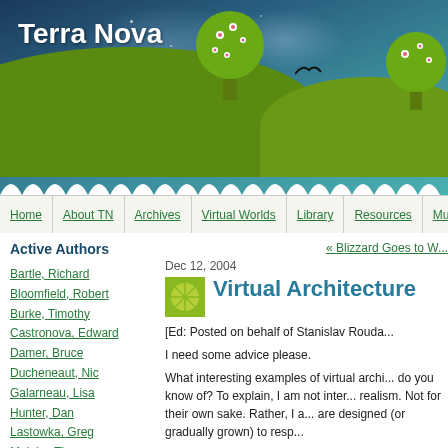[Figure (illustration): Terra Nova website header banner with teal/dark blue night sky background, stylized green hills, round trees with flower decorations, and a bird silhouette]
Terra Nova
Simulation + Society + Play
Home | About TN | Archives | Virtual Worlds | Library | Resources | Multi...
Active Authors
« Blizzard Goes to W...
Bartle, Richard
Bloomfield, Robert
Burke, Timothy
Castronova, Edward
Damer, Bruce
Ducheneaut, Nic
Galarneau, Lisa
Hunter, Dan
Lastowka, Greg
Malaby, Thomas
Dec 12, 2004
Virtual Architecture
[Ed: Posted on behalf of Stanislav Rouda...
I need some advice please.
What interesting examples of virtual archi... do you know of? To explain, I am not inter... realism. Not for their own sake. Rather, I a... are designed (or gradually grown) to resp...